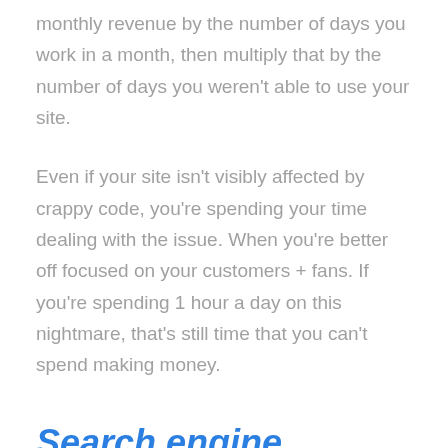monthly revenue by the number of days you work in a month, then multiply that by the number of days you weren't able to use your site.
Even if your site isn't visibly affected by crappy code, you're spending your time dealing with the issue. When you're better off focused on your customers + fans. If you're spending 1 hour a day on this nightmare, that's still time that you can't spend making money.
Search engine blacklist hacked downtime cost